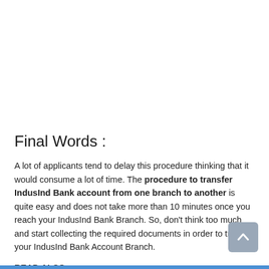Final Words :
A lot of applicants tend to delay this procedure thinking that it would consume a lot of time. The procedure to transfer IndusInd Bank account from one branch to another is quite easy and does not take more than 10 minutes once you reach your IndusInd Bank Branch. So, don't think too much and start collecting the required documents in order to transfer your IndusInd Bank Account Branch.
READ ALSO :